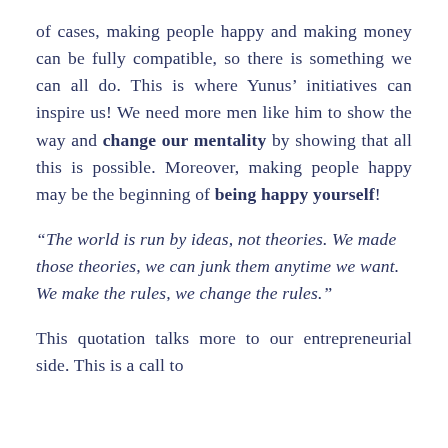of cases, making people happy and making money can be fully compatible, so there is something we can all do. This is where Yunus' initiatives can inspire us! We need more men like him to show the way and change our mentality by showing that all this is possible. Moreover, making people happy may be the beginning of being happy yourself!
“The world is run by ideas, not theories. We made those theories, we can junk them anytime we want. We make the rules, we change the rules.”
This quotation talks more to our entrepreneurial side. This is a call to